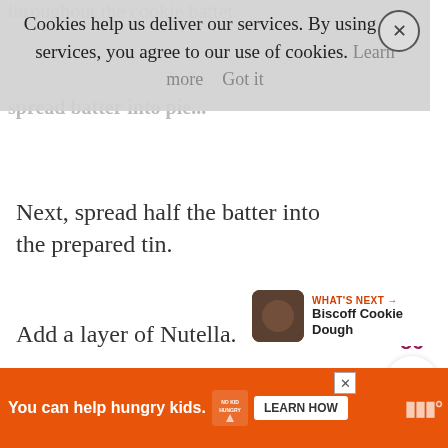throughout the cookie batter.
spread batter into pie...
Cookies help us deliver our services. By using our services, you agree to our use of cookies. Learn more  Got it
Next, spread half the batter into the prepared tin.
Add a layer of Nutella.
Add more batter on top.
[Figure (infographic): Social sharing sidebar with like count 86, heart icon, purple heart/bookmark icon with 55, and share icon]
WHAT'S NEXT → Biscoff Cookie Dough
You can help hungry kids. NO KID HUNGRY LEARN HOW